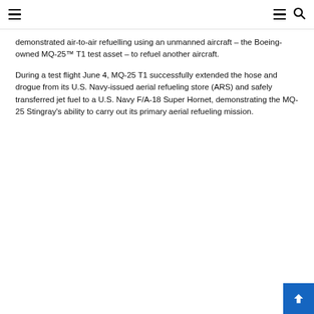Navigation header with hamburger menus and search icon
demonstrated air-to-air refuelling using an unmanned aircraft – the Boeing-owned MQ-25™ T1 test asset – to refuel another aircraft.
During a test flight June 4, MQ-25 T1 successfully extended the hose and drogue from its U.S. Navy-issued aerial refueling store (ARS) and safely transferred jet fuel to a U.S. Navy F/A-18 Super Hornet, demonstrating the MQ-25 Stingray's ability to carry out its primary aerial refueling mission.